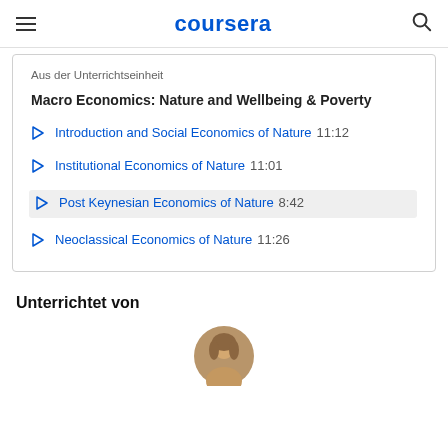coursera
Aus der Unterrichtseinheit
Macro Economics: Nature and Wellbeing & Poverty
Introduction and Social Economics of Nature  11:12
Institutional Economics of Nature  11:01
Post Keynesian Economics of Nature  8:42
Neoclassical Economics of Nature  11:26
Unterrichtet von
[Figure (photo): Profile photo of instructor, partially visible at bottom of page]